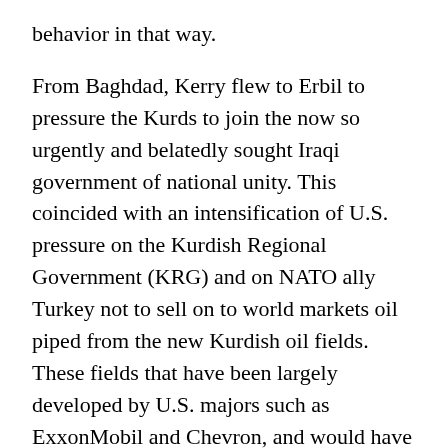behavior in that way.
From Baghdad, Kerry flew to Erbil to pressure the Kurds to join the now so urgently and belatedly sought Iraqi government of national unity. This coincided with an intensification of U.S. pressure on the Kurdish Regional Government (KRG) and on NATO ally Turkey not to sell on to world markets oil piped from the new Kurdish oil fields. These fields that have been largely developed by U.S. majors such as ExxonMobil and Chevron, and would have remained undeveloped if it had been left to Baghdad.